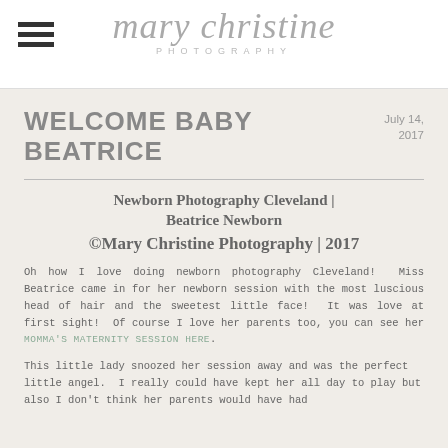[Figure (logo): Mary Christine Photography logo with decorative script text and 'PHOTOGRAPHY' subtitle, with hamburger menu icon on left]
WELCOME BABY BEATRICE
July 14, 2017
Newborn Photography Cleveland | Beatrice Newborn
©Mary Christine Photography | 2017
Oh how I love doing newborn photography Cleveland!  Miss Beatrice came in for her newborn session with the most luscious head of hair and the sweetest little face!  It was love at first sight!  Of course I love her parents too, you can see her MOMMA'S MATERNITY SESSION HERE.
This little lady snoozed her session away and was the perfect little angel.  I really could have kept her all day to play but also I don't think her parents would have had